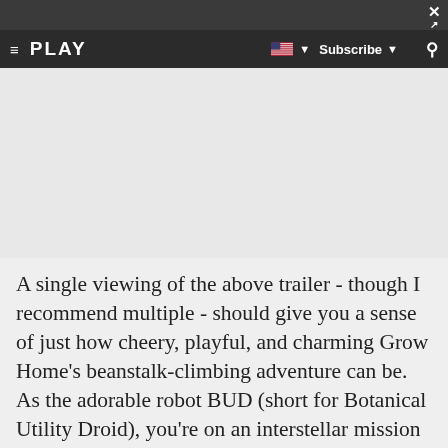PLAY | Subscribe
A single viewing of the above trailer - though I recommend multiple - should give you a sense of just how cheery, playful, and charming Grow Home's beanstalk-climbing adventure can be. As the adorable robot BUD (short for Botanical Utility Droid), you're on an interstellar mission to retrieve a Star Seed, which could be beamed back home for precious